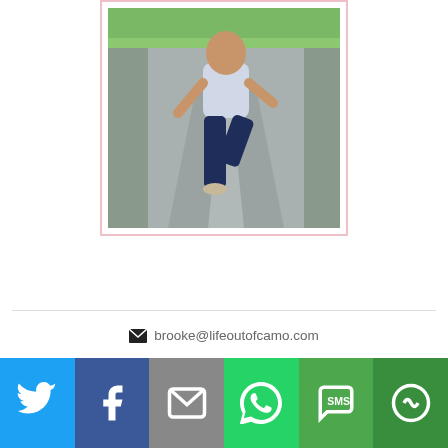[Figure (photo): A person running or skipping down the middle of a suburban road, wearing a white shirt and dark jeans, with trees and grass visible in the background. Photo has a light pink border frame.]
brooke@lifeoutofcamo.com
[Figure (infographic): Social sharing bar with six buttons: Twitter (blue), Facebook (dark blue), Email (gray), WhatsApp (green), SMS (green), and More/Share (dark green)]